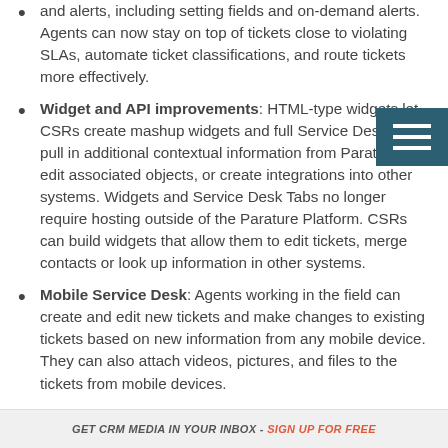and alerts, including setting fields and on-demand alerts. Agents can now stay on top of tickets close to violating SLAs, automate ticket classifications, and route tickets more effectively.
Widget and API improvements: HTML-type widgets let CSRs create mashup widgets and full Service Desk Tabs, pull in additional contextual information from Parature, edit associated objects, or create integrations into other systems. Widgets and Service Desk Tabs no longer require hosting outside of the Parature Platform. CSRs can build widgets that allow them to edit tickets, merge contacts or look up information in other systems.
Mobile Service Desk: Agents working in the field can create and edit new tickets and make changes to existing tickets based on new information from any mobile device. They can also attach videos, pictures, and files to the tickets from mobile devices.
Multiple Custom Email Templates: Agents can now create email templates to match brand, messaging, or
GET CRM MEDIA IN YOUR INBOX - SIGN UP FOR FREE